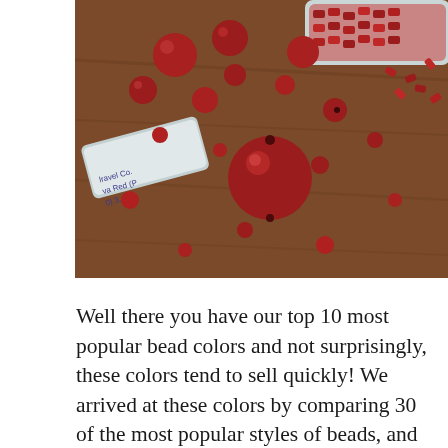[Figure (photo): Photo of red beads of various sizes scattered on a wooden surface, with clear plastic tubes/containers holding red beads and seed beads. Labels partially visible on the tubes.]
Well there you have our top 10 most popular bead colors and not surprisingly, these colors tend to sell quickly!  We arrived at these colors by comparing 30 of the most popular styles of beads, and ranking the colors of each across a 1-year period.  Note, that this list does NOT include crystal colors, because crystals tend to have very different types of colors.  The popularity for those also tends to be more in favor of transparent and AB (aurora borealis) styles.  Look for an upcoming blog focused